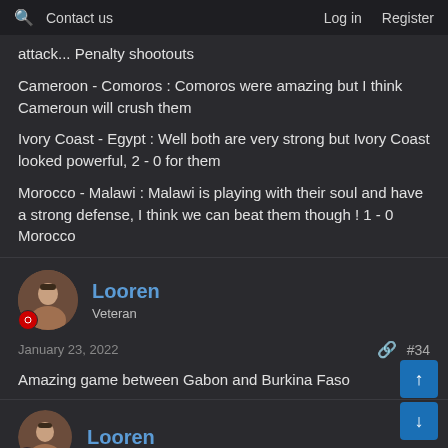🔍 Contact us | Log in Register
attack... Penalty shootouts
Cameroon - Comoros : Comoros were amazing but I think Cameroun will crush them
Ivory Coast - Egypt : Well both are very strong but Ivory Coast looked powerful, 2 - 0 for them
Morocco - Malawi : Malawi is playing with their soul and have a strong defense, I think we can beat them though ! 1 - 0 Morocco
Looren
Veteran
January 23, 2022
#34
Amazing game between Gabon and Burkina Faso
Looren